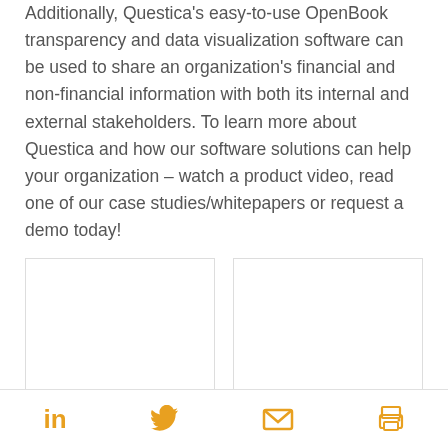Additionally, Questica's easy-to-use OpenBook transparency and data visualization software can be used to share an organization's financial and non-financial information with both its internal and external stakeholders. To learn more about Questica and how our software solutions can help your organization – watch a product video, read one of our case studies/whitepapers or request a demo today!
[Figure (other): Product Videos card - white card with border]
[Figure (other): Success Stories card - white card with border]
Social icons: LinkedIn, Twitter, Email, Print